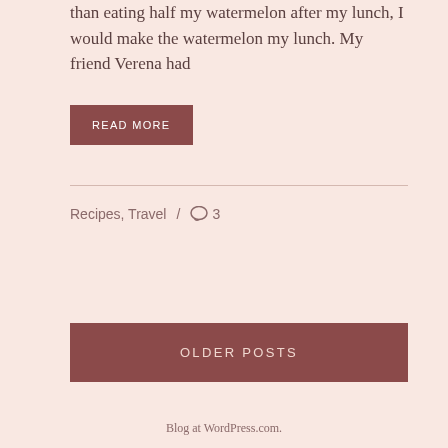than eating half my watermelon after my lunch, I would make the watermelon my lunch. My friend Verena had
READ MORE
Recipes, Travel  /  3
OLDER POSTS
Blog at WordPress.com.